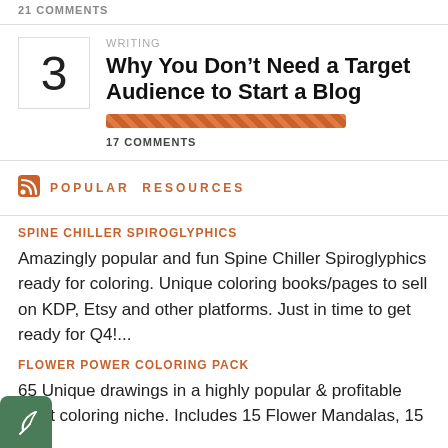21 COMMENTS
WRITING
Why You Don't Need a Target Audience to Start a Blog
17 COMMENTS
POPULAR RESOURCES
SPINE CHILLER SPIROGLYPHICS
Amazingly popular and fun Spine Chiller Spiroglyphics ready for coloring. Unique coloring books/pages to sell on KDP, Etsy and other platforms. Just in time to get ready for Q4!...
FLOWER POWER COLORING PACK
65 Unique drawings in a highly popular & profitable adult coloring niche. Includes 15 Flower Mandalas, 15